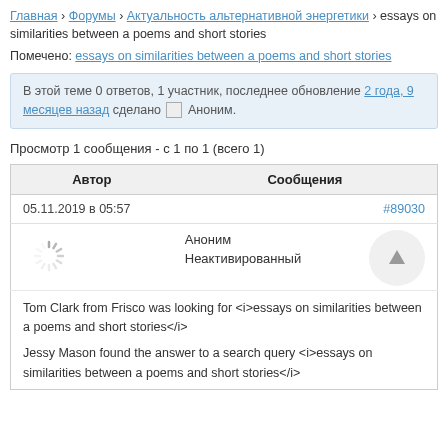Главная › Форумы › Актуальность альтернативной энергетики › essays on similarities between a poems and short stories
Помечено: essays on similarities between a poems and short stories
В этой теме 0 ответов, 1 участник, последнее обновление 2 года, 9 месяцев назад сделано Аноним.
Просмотр 1 сообщения - с 1 по 1 (всего 1)
| Автор | Сообщения |
| --- | --- |
| 05.11.2019 в 05:57 | #89030 |
| Аноним Неактивированный |  |
| Tom Clark from Frisco was looking for <i>essays on similarities between a poems and short stories</i>

Jessy Mason found the answer to a search query <i>essays on similarities between a poems and short stories</i> |  |
Tom Clark from Frisco was looking for <i>essays on similarities between a poems and short stories</i>

Jessy Mason found the answer to a search query <i>essays on similarities between a poems and short stories</i>